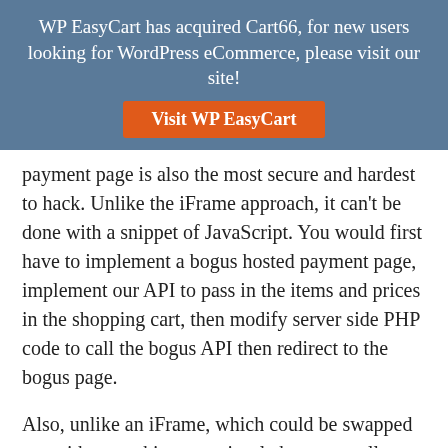WP EasyCart has acquired Cart66, for new users looking for WordPress eCommerce, please visit our site!
[Figure (other): Orange button labeled 'Visit WP EasyCart']
payment page is also the most secure and hardest to hack. Unlike the iFrame approach, it can't be done with a snippet of JavaScript. You would first have to implement a bogus hosted payment page, implement our API to pass in the items and prices in the shopping cart, then modify server side PHP code to call the bogus API then redirect to the bogus page.
Also, unlike an iFrame, which could be swapped out without making any visual changes at all to your site, you, as the store owner could look and immediately see that the hosted payment page doesn't look like your site and isn't hosted at the proper domain.